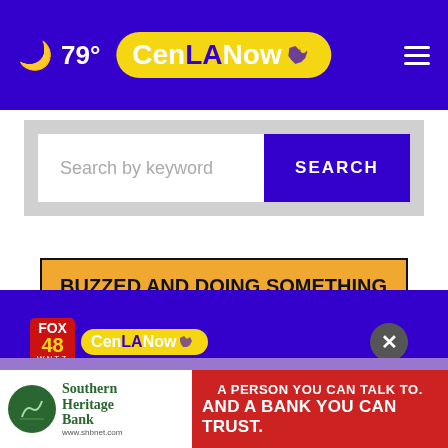🌙 79° | CenLANow
[Figure (screenshot): Search bar with 'Search by keyword' placeholder and blue SEARCH button on gray background]
BUZZED AND DOING SOMETHING TO MAKE YOURSELF OKAY TO DRIVE?
[Figure (logo): FOX 48 WNTZ logo and CenLANow logo on purple footer bar with close (X) button]
[Figure (infographic): Southern Heritage Bank advertisement: A PERSON YOU CAN TALK TO. AND A BANK YOU CAN TRUST.]